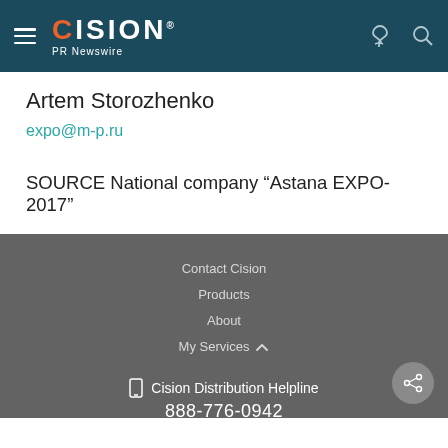Cision PR Newswire
Artem Storozhenko
expo@m-p.ru
SOURCE National company “Astana EXPO-2017”
Contact Cision
Products
About
My Services
Cision Distribution Helpline
888-776-0942